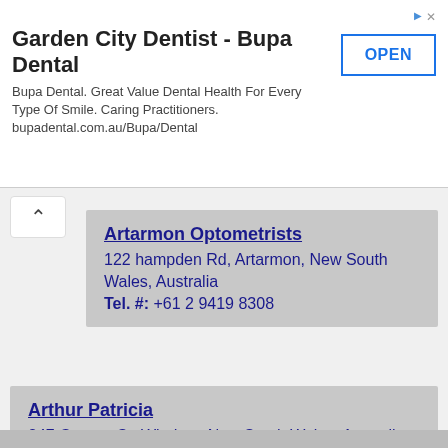Garden City Dentist - Bupa Dental
Bupa Dental. Great Value Dental Health For Every Type Of Smile. Caring Practitioners. bupadental.com.au/Bupa/Dental
OPEN
Artarmon Optometrists
122 hampden Rd, Artarmon, New South Wales, Australia
Tel. #: +61 2 9419 8308
Arthur Patricia
247 George St, Windsor, New South Wales, Australia
Tel. #: +61 2 4587 7499
Aston Martin H
20 Macquarie St, Parramatta, New South Wales, Australia
Tel. #: +61 2 9687 0119